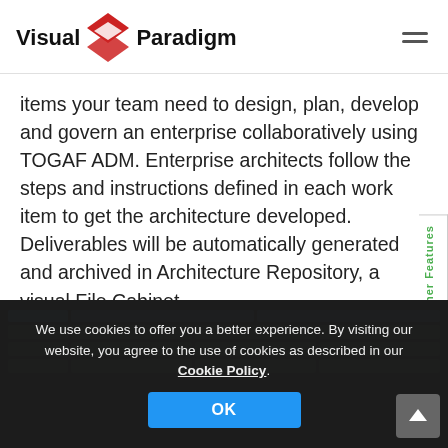Visual Paradigm
items your team need to design, plan, develop and govern an enterprise collaboratively using TOGAF ADM. Enterprise architects follow the steps and instructions defined in each work item to get the architecture developed. Deliverables will be automatically generated and archived in Architecture Repository, a visual File Cabinet.
[Figure (screenshot): Screenshot of Visual Paradigm application interface showing a grid/table view with dark background]
We use cookies to offer you a better experience. By visiting our website, you agree to the use of cookies as described in our Cookie Policy.
OK